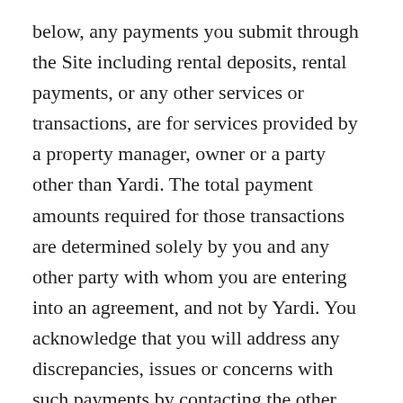below, any payments you submit through the Site including rental deposits, rental payments, or any other services or transactions, are for services provided by a property manager, owner or a party other than Yardi. The total payment amounts required for those transactions are determined solely by you and any other party with whom you are entering into an agreement, and not by Yardi. You acknowledge that you will address any discrepancies, issues or concerns with such payments by contacting the other party directly, rather than Yardi. Yardi shall not be involved in such issues except where the issue is solely attributable to a malfunction or error occurring on the Site or in connection with the Services. However, Users may take advantage of certain Services that have a charge associated with them such as screening